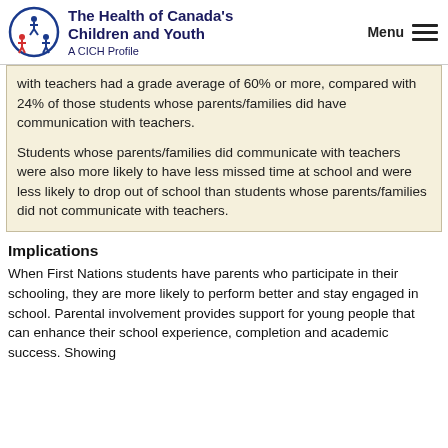The Health of Canada's Children and Youth – A CICH Profile
with teachers had a grade average of 60% or more, compared with 24% of those students whose parents/families did have communication with teachers.
Students whose parents/families did communicate with teachers were also more likely to have less missed time at school and were less likely to drop out of school than students whose parents/families did not communicate with teachers.
Implications
When First Nations students have parents who participate in their schooling, they are more likely to perform better and stay engaged in school. Parental involvement provides support for young people that can enhance their school experience, completion and academic success. Showing